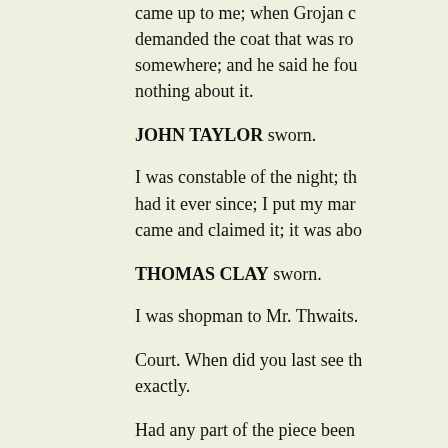came up to me; when Grojan c... demanded the coat that was ro... somewhere; and he said he fou... nothing about it.
JOHN TAYLOR sworn.
I was constable of the night; th... had it ever since; I put my mar... came and claimed it; it was abo...
THOMAS CLAY sworn.
I was shopman to Mr. Thwaits.
Court. When did you last see th... exactly.
Had any part of the piece been... hundred yards; there was abou...
(Deposes to the cloth by a priv...
Do not you sell the cloth with t...
Had you any more than one pie...